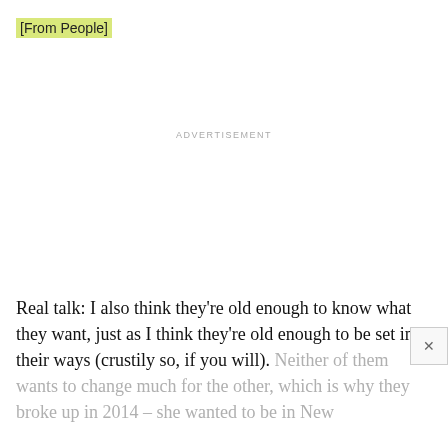[From People]
ADVERTISEMENT
Real talk: I also think they're old enough to know what they want, just as I think they're old enough to be set in their ways (crustily so, if you will). Neither of them wants to change much for the other, which is why they broke up in 2014 – she wanted to be in New